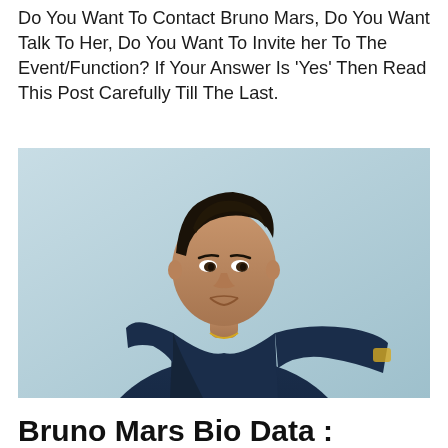Do You Want To Contact Bruno Mars, Do You Want Talk To Her, Do You Want To Invite her To The Event/Function? If Your Answer Is 'Yes' Then Read This Post Carefully Till The Last.
[Figure (photo): Photo of Bruno Mars wearing a dark navy blue shirt, posing with hand near collar, gold chain necklace and watch/bracelet visible, light blue-grey background]
Bruno Mars Bio Data :